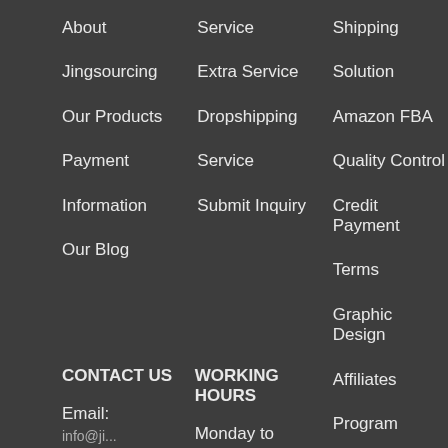About
Jingsourcing
Our Products
Payment
Information
Our Blog
Service
Extra Service
Dropshipping
Service
Submit Inquiry
Shipping
Solution
Amazon FBA
Quality Control
Credit Payment
Terms
Graphic Design
Affiliates
Program
CONTACT US
WORKING HOURS
Email:
Monday to